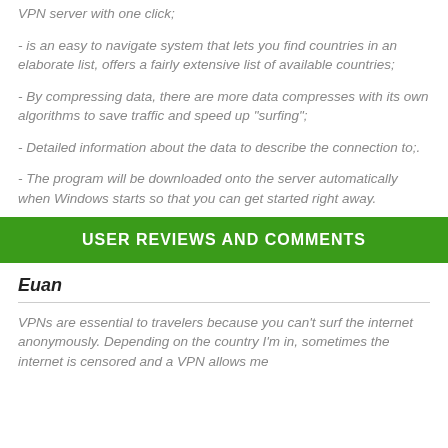VPN server with one click;
- is an easy to navigate system that lets you find countries in an elaborate list, offers a fairly extensive list of available countries;
- By compressing data, there are more data compresses with its own algorithms to save traffic and speed up "surfing";
- Detailed information about the data to describe the connection to;.
- The program will be downloaded onto the server automatically when Windows starts so that you can get started right away.
USER REVIEWS AND COMMENTS
Euan
VPNs are essential to travelers because you can't surf the internet anonymously. Depending on the country I'm in, sometimes the internet is censored and a VPN allows me